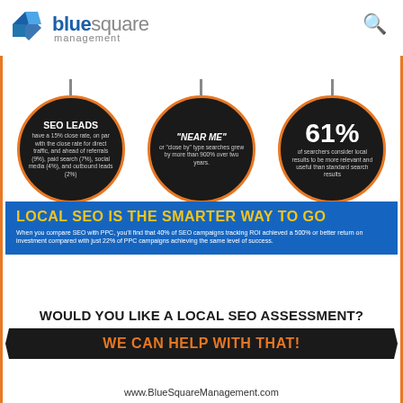[Figure (logo): Blue Square Management logo with blue geometric diamond icon and company name]
[Figure (infographic): Three black circles with orange borders: (1) SEO LEADS have a 15% close rate, on par with the close rate for direct traffic, and ahead of referrals (9%), paid search (7%), social media (4%), and outbound leads (2%). (2) 'NEAR ME' or 'close by' type searches grew by more than 900% over two years. (3) 61% of searchers consider local results to be more relevant and useful than standard search results.]
LOCAL SEO IS THE SMARTER WAY TO GO
When you compare SEO with PPC, you'll find that 40% of SEO campaigns tracking ROI achieved a 500% or better return on investment compared with just 22% of PPC campaigns achieving the same level of success.
WOULD YOU LIKE A LOCAL SEO ASSESSMENT?
WE CAN HELP WITH THAT!
www.BlueSquareManagement.com